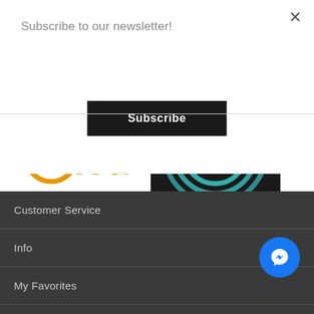Subscribe to our newsletter!
Subscribe
[Figure (logo): Oiva smiley face logo in orange with orange banner ribbon underneath]
[Figure (illustration): Dark award badge with teal concentric arcs, text '2021' and 'LaKo Trade Oy']
Customer Service
Info
My Favorites